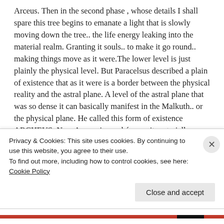Arceus. Then in the second phase , whose details I shall spare this tree begins to emanate a light that is slowly moving down the tree.. the life energy leaking into the material realm. Granting it souls.. to make it go round.. making things move as it were.The lower level is just plainly the physical level. But Paracelsus described a plain of existence that as it were is a border between the physical reality and the astral plane. A level of the astral plane that was so dense it can basically manifest in the Malkuth.. or the physical plane. He called this form of existence ARCHEUS. Now Arceus is a pokémon.. it materially
Privacy & Cookies: This site uses cookies. By continuing to use this website, you agree to their use.
To find out more, including how to control cookies, see here: Cookie Policy
Close and accept